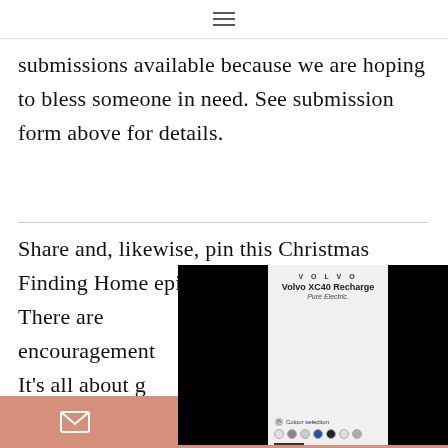≡
submissions available because we are hoping to bless someone in need. See submission form above for details.
Share and, likewise, pin this Christmas Finding Home episode to get the word out. There are encouragement It's all about g
[Figure (advertisement): Volvo XC40 Recharge Pure Electric advertisement overlay with black panels on either side and a color selector showing multiple dot colors]
email | pinterest | share icons